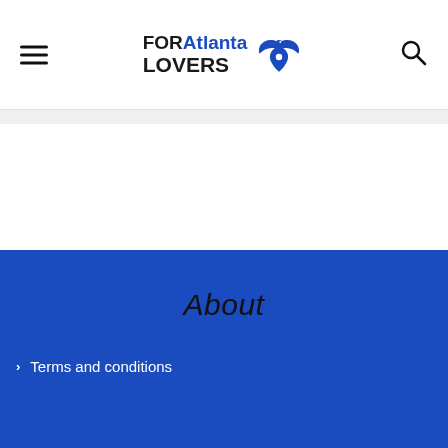FOR Atlanta LOVERS
About
Terms and conditions